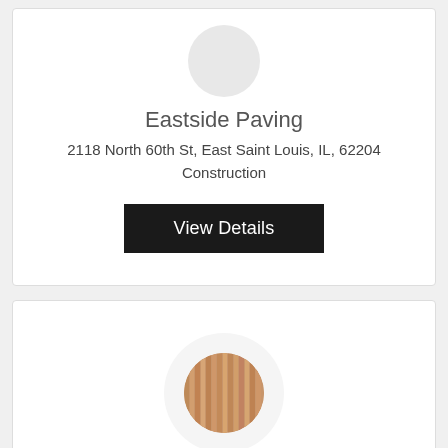[Figure (logo): Circular avatar placeholder for Eastside Paving, light gray circle]
Eastside Paving
2118 North 60th St, East Saint Louis, IL, 62204
Construction
View Details
[Figure (photo): Circular logo with wood slat texture (warm tan/brown vertical stripes) inside a light gray outer circle, representing Action Services]
855-580-4903
Action Services